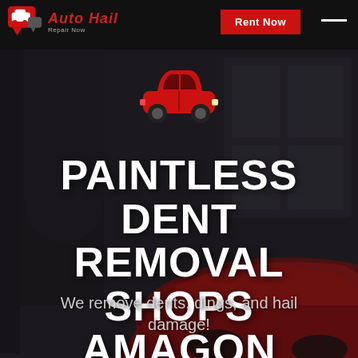Auto Hail Repair Now — Rent Now
[Figure (illustration): Red cartoon car icon centered on dark background photo of building archway with a red sports car visible in the lower right]
PAINTLESS DENT REMOVAL SHOPS AMAGON ARKANSAS
We remove dents, dings, and hail damage!